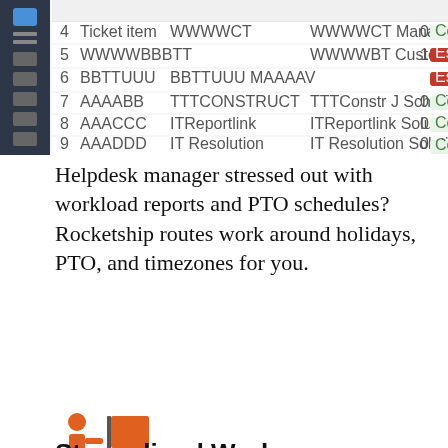[Figure (screenshot): Helpdesk ticketing system UI screenshot showing a table with ticket rows, some highlighted in red and green]
Helpdesk manager stressed out with workload reports and PTO schedules? Rocketship routes work around holidays, PTO, and timezones for you.
[Figure (illustration): Orange icon of a person next to a presentation board/flag]
Streamlined Work Dashboard
[Figure (screenshot): Engineer WorkBoard dashboard UI showing My Appointments and My WorkEvents sections with scheduling interface]